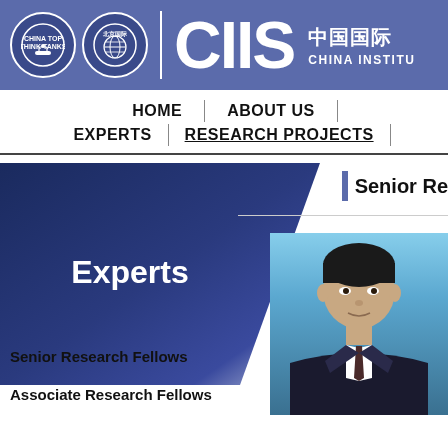CIIS – China Institute header with logos
HOME | ABOUT US | EXPERTS | RESEARCH PROJECTS
[Figure (illustration): Experts banner panel with diagonal gradient background and 'Experts' text in white]
Senior Re[search Fellows]
[Figure (photo): Professional headshot of a man in a suit against a blue background]
Senior Research Fellows
Associate Research Fellows